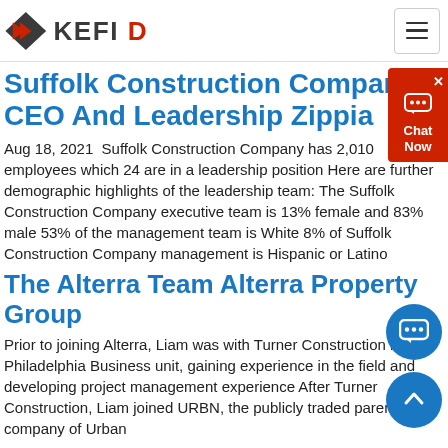KEFID logo and navigation
Suffolk Construction Company CEO And Leadership Zippia
Aug 18, 2021  Suffolk Construction Company has 2,010 employees which 24 are in a leadership position Here are further demographic highlights of the leadership team: The Suffolk Construction Company executive team is 13% female and 83% male 53% of the management team is White 8% of Suffolk Construction Company management is Hispanic or Latino
The Alterra Team Alterra Property Group
Prior to joining Alterra, Liam was with Turner Construction in the Philadelphia Business unit, gaining experience in the field and developing project management experience After Turner Construction, Liam joined URBN, the publicly traded parent company of Urban